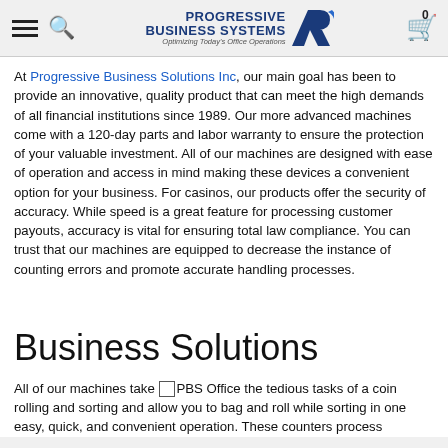Progressive Business Systems — navigation header with logo and cart
At Progressive Business Solutions Inc, our main goal has been to provide an innovative, quality product that can meet the high demands of all financial institutions since 1989. Our more advanced machines come with a 120-day parts and labor warranty to ensure the protection of your valuable investment. All of our machines are designed with ease of operation and access in mind making these devices a convenient option for your business. For casinos, our products offer the security of accuracy. While speed is a great feature for processing customer payouts, accuracy is vital for ensuring total law compliance. You can trust that our machines are equipped to decrease the instance of counting errors and promote accurate handling processes.
Business Solutions
All of our machines take PBS Office the tedious tasks of a coin rolling and sorting and allow you to bag and roll while sorting in one easy, quick, and convenient operation. These counters process